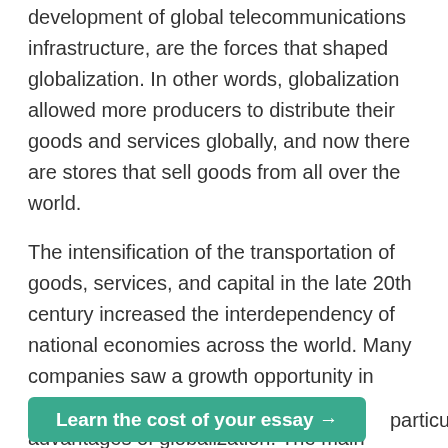development of global telecommunications infrastructure, are the forces that shaped globalization. In other words, globalization allowed more producers to distribute their goods and services globally, and now there are stores that sell goods from all over the world.
The intensification of the transportation of goods, services, and capital in the late 20th century increased the interdependency of national economies across the world. Many companies saw a growth opportunity in global expansion, due to the obvious advantages of globalization. The main advantage of international expansion is the fact that the company presents its goods or services to a much larger target market. Access to a large global market means bigger profits due to higher demand.
Learn the cost of your essay →
particular product,